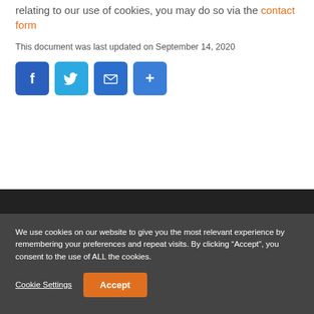relating to our use of cookies, you may do so via the contact form
This document was last updated on September 14, 2020
[Figure (infographic): Social sharing icons: Facebook (blue), Twitter (light blue), Email (blue), More/Share (blue)]
We use cookies on our website to give you the most relevant experience by remembering your preferences and repeat visits. By clicking “Accept”, you consent to the use of ALL the cookies.
Cookie Settings   Accept